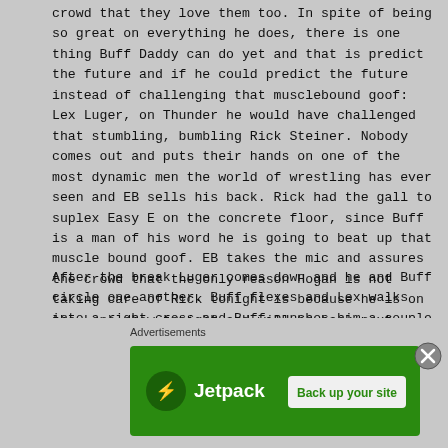crowd that they love them too. In spite of being so great on everything he does, there is one thing Buff Daddy can do yet and that is predict the future and if he could predict the future instead of challenging that musclebound goof: Lex Luger, on Thunder he would have challenged that stumbling, bumbling Rick Steiner. Nobody comes out and puts their hands on one of the most dynamic men the world of wrestling has ever seen and EB sells his back. Rick had the gall to suplex Easy E on the concrete floor, since Buff is a man of his word he is going to beat up that muscle bound goof. EB takes the mic and assures the crowd that the only reason Hogan is not taking care of Rick tonight is because he is on the Leno show tonight and will be back next week.
After the break Luger comes down and he and Buff circle one another. Buff flexes and Lex walks into a right cross and Buff punches him a couple of more times but is sent into the ropes and run over via shoulderblock. Lex runs him over again, and off the ropes again Buff leapfrogs and dropkicks Luger. They lock up again and Buff knees him in the ribs and clubs the back of the head but Lex drops him and Buff leaps up only to be bodyslammed and the clotheslined to the floor. EB
Advertisements
[Figure (infographic): Jetpack advertisement banner with green background showing Jetpack logo and 'Back up your site' button]